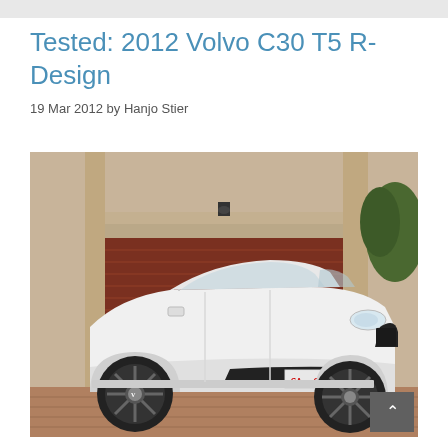Tested: 2012 Volvo C30 T5 R-Design
19 Mar 2012 by Hanjo Stier
[Figure (photo): White 2012 Volvo C30 T5 R-Design parked in front of a house garage with a brown roller door. The car is photographed from a front three-quarter angle, showing its distinctive hatchback design, chrome mirror caps, and alloy wheels. License plate visible at the front.]